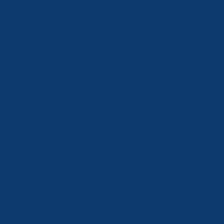the great Karl Popper I should remind you that all conte nti